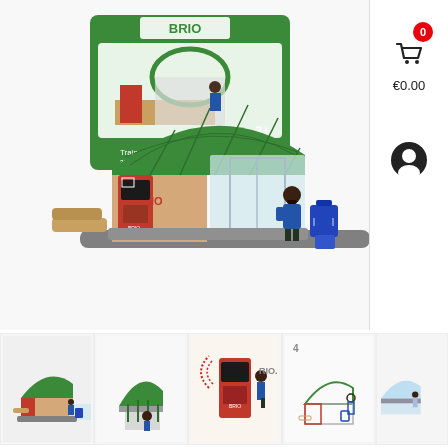[Figure (photo): BRIO Train Station toy set product photo showing the main product with green arched roof station building, red ticket machine, wooden platform, figure with blue luggage, and product box in background]
[Figure (photo): Thumbnail 1: BRIO Train Station full set side view]
[Figure (photo): Thumbnail 2: BRIO Train Station green dome close-up]
[Figure (photo): Thumbnail 3: BRIO Train Station red ticket machine with sound waves]
[Figure (photo): Thumbnail 4: BRIO Train Station instruction diagram step 4]
[Figure (photo): Thumbnail 5: BRIO Train Station partial view cut off on right edge]
0
€0.00